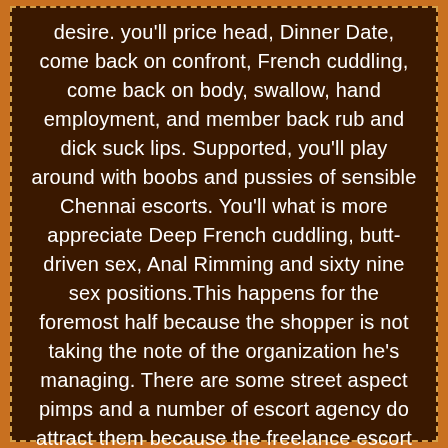desire. you'll price head, Dinner Date, come back on confront, French cuddling, come back on body, swallow, hand employment, and member back rub and dick suck lips. Supported, you'll play around with boobs and pussies of sensible Chennai escorts. You'll what is more appreciate Deep French cuddling, butt-driven sex, Anal Rimming and sixty nine sex positions.This happens for the foremost half because the shopper is not taking the note of the organization he's managing. There are some street aspect pimps and a number of escort agency do attract them because the freelance escort in Chennai. These people are unrepeatable as they're going anywhere known as. The final population World Health Organization are wealthy and refined can deny to go to at any faltering spot nevertheless